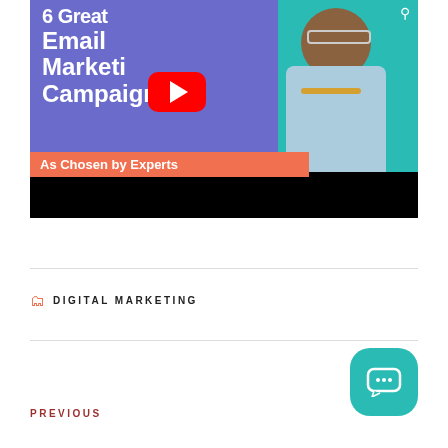[Figure (screenshot): YouTube video thumbnail showing '6 Great Email Marketing Campaigns As Chosen by Experts' with a YouTube play button overlay and a smiling man in a printed shirt on an orange, purple, and teal background]
DIGITAL MARKETING
PREVIOUS